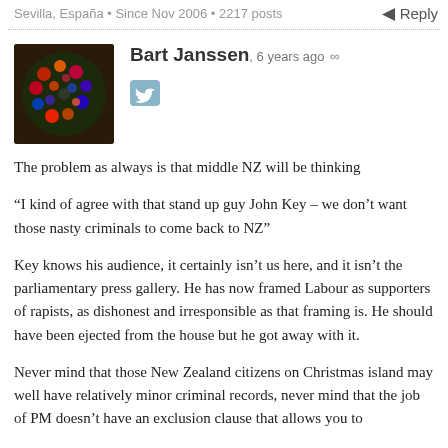Sevilla, España • Since Nov 2006 • 2217 posts
Reply
Bart Janssen, 6 years ago
[Figure (photo): User avatar photo showing colorful beaded or bubble-like pattern on dark background]
The problem as always is that middle NZ will be thinking

"I kind of agree with that stand up guy John Key – we don't want those nasty criminals to come back to NZ"

Key knows his audience, it certainly isn't us here, and it isn't the parliamentary press gallery. He has now framed Labour as supporters of rapists, as dishonest and irresponsible as that framing is. He should have been ejected from the house but he got away with it.

Never mind that those New Zealand citizens on Christmas island may well have relatively minor criminal records, never mind that the job of PM doesn't have an exclusion clause that allows you to